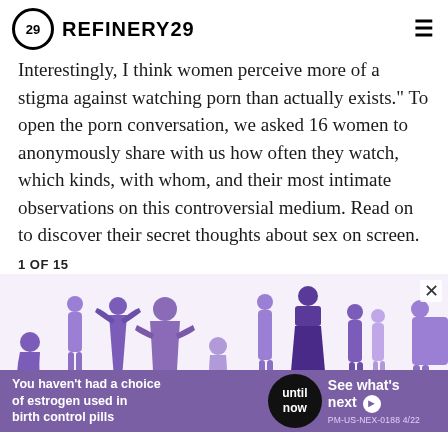REFINERY29
Interestingly, I think women perceive more of a stigma against watching porn than actually exists." To open the porn conversation, we asked 16 women to anonymously share with us how often they watch, which kinds, with whom, and their most intimate observations on this controversial medium. Read on to discover their secret thoughts about sex on screen.
1 OF 15
[Figure (illustration): Purple silhouette illustrations of women in various poses and body types arranged in a horizontal banner. An advertisement banner overlays the bottom: 'You haven't had a choice of estrogen used in birth control pills' with 'until now' in a black circle and 'See what's next >' on the right. PM-US-NEX-0188 4/22]